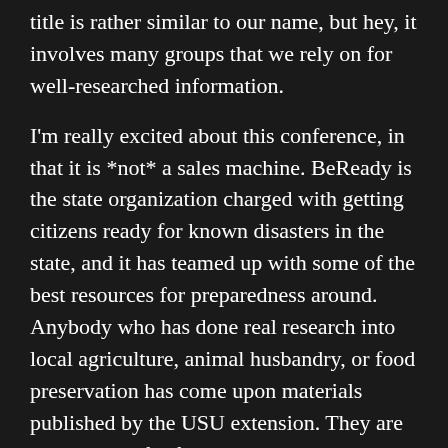title is rather similar to our name, but hey, it involves many groups that we rely on for well-researched information.
I'm really excited about this conference, in that it is *not* a sales machine. BeReady is the state organization charged with getting citizens ready for known disasters in the state, and it has teamed up with some of the best resources for preparedness around. Anybody who has done real research into local agriculture, animal husbandry, or food preservation has come upon materials published by the USU extension. They are the standard for food preservation testing in the country, and we love having them locally.
Of course, there are vendors there as well, so don't fret about missing out on the "toys" and fun there as well, but the conference itself is not "consumer-first", and that should mean a lot to real preppers.